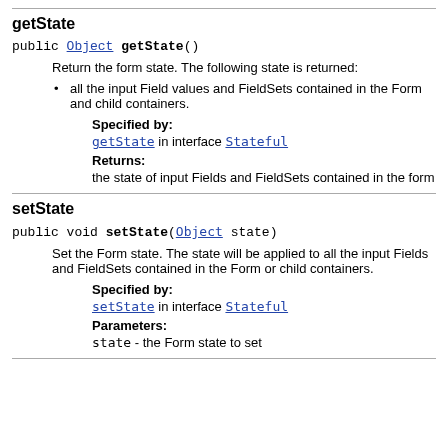getState
public Object getState()
Return the form state. The following state is returned:
all the input Field values and FieldSets contained in the Form and child containers.
Specified by:
getState in interface Stateful
Returns:
the state of input Fields and FieldSets contained in the form
setState
public void setState(Object state)
Set the Form state. The state will be applied to all the input Fields and FieldSets contained in the Form or child containers.
Specified by:
setState in interface Stateful
Parameters:
state - the Form state to set